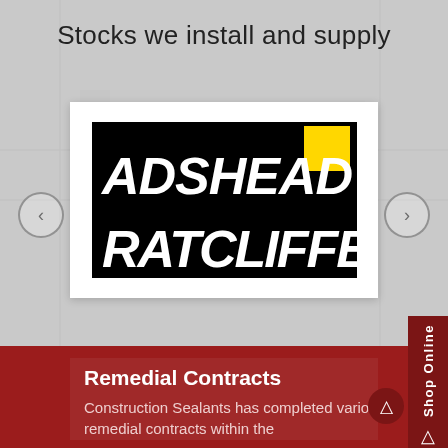Stocks we install and supply
[Figure (logo): Adshead Ratcliffe company logo — black background with white bold block text 'ADSHEAD RATCLIFFE' and a yellow square accent]
Remedial Contracts
Construction Sealants has completed various remedial contracts within the